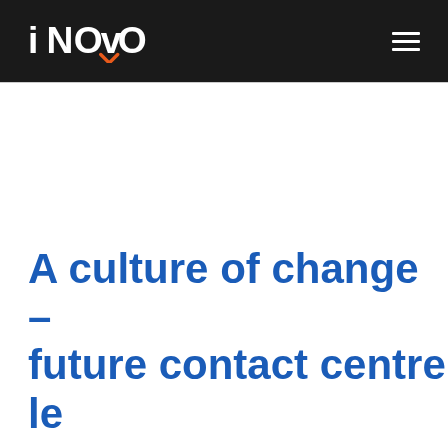iNOVO
A culture of change – future contact centre lead…